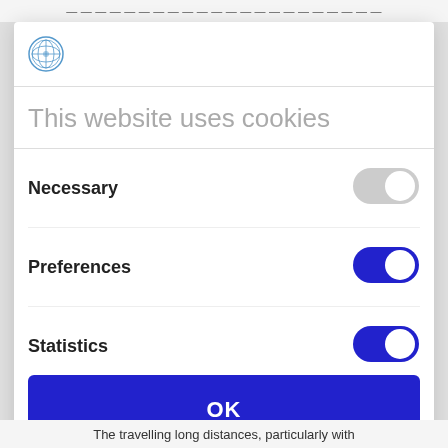[ partially visible text at top ]
[Figure (logo): Blue circular snowflake/globe logo icon]
This website uses cookies
Necessary
[Figure (other): Toggle switch in off/grey state for Necessary]
Preferences
[Figure (other): Toggle switch in on/blue state for Preferences]
Statistics
[Figure (other): Toggle switch in on/blue state for Statistics (partially visible)]
OK
Powered by Cookiebot by Usercentrics
The travelling long distances, particularly with